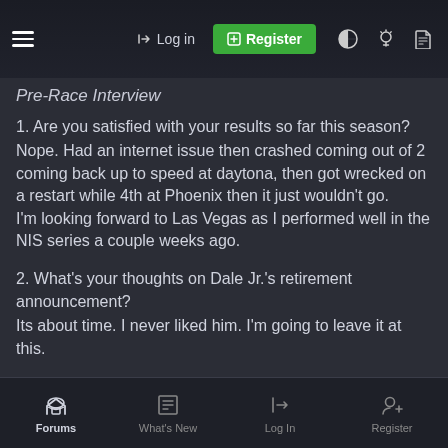Log in | Register
Pre-Race Interview
1. Are you satisfied with your results so far this season?
Nope. Had an internet issue then crashed coming out of 2 coming back up to speed at daytona, then got wrecked on a restart while 4th at Phoenix then it just wouldn't go.
I'm looking forward to Las Vegas as I performed well in the NIS series a couple weeks ago.
2. What's your thoughts on Dale Jr.'s retirement announcement?
Its about time. I never liked him. I'm going to leave it at this.
3. Do you think Carl Edwards stepping away had anything to do with Jr.'s decision?
Forums | What's New | Log In | Register